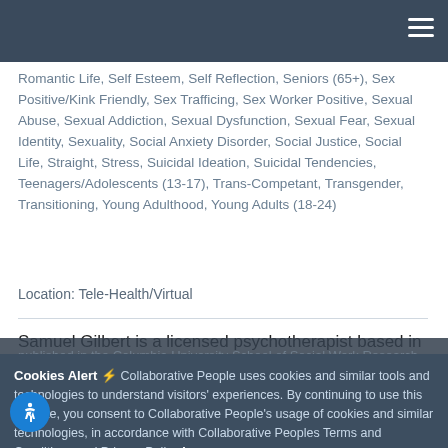Romantic Life, Self Esteem, Self Reflection, Seniors (65+), Sex Positive/Kink Friendly, Sex Trafficing, Sex Worker Positive, Sexual Abuse, Sexual Addiction, Sexual Dysfunction, Sexual Fear, Sexual Identity, Sexuality, Social Anxiety Disorder, Social Justice, Social Life, Straight, Stress, Suicidal Ideation, Suicidal Tendencies, Teenagers/Adolescents (13-17), Trans-Competant, Transgender, Transitioning, Young Adulthood, Young Adults (18-24)
Location: Tele-Health/Virtual
Samuel Gilbert is a licensed psychotherapist based in New York City, earning his Master of Social Work degree magna cum laude from Columbia University. His award-winning scholarship,
published in the Columbia University School of Social Work Research Review (CUSWR), focused on incarceration. He has experience working with adults across the lifespan, in instance using evidence-based (CBT, DBT, mindfulness) approaches to treat trauma (PTSD). He also has experience—and specialization in—with individuals who identify as LGBTQ+.
Cookies Alert ⚡ Collaborative People uses cookies and similar tools and technologies to understand visitors' experiences. By continuing to use this website, you consent to Collaborative People's usage of cookies and similar technologies, in accordance with Collaborative Peoples Terms and Conditions and Privacy Policy Learn more
Accept cookies